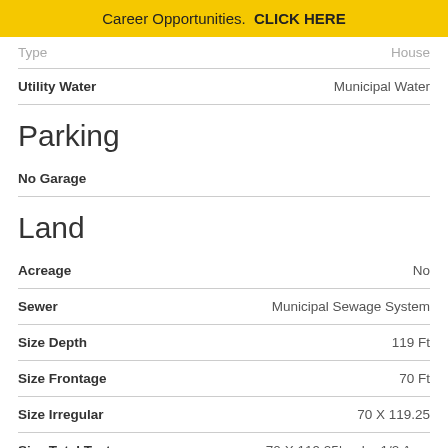Career Opportunities. CLICK HERE
| Field | Value |
| --- | --- |
| Type | House |
| Utility Water | Municipal Water |
Parking
| Field | Value |
| --- | --- |
| No Garage |  |
Land
| Field | Value |
| --- | --- |
| Acreage | No |
| Sewer | Municipal Sewage System |
| Size Depth | 119 Ft |
| Size Frontage | 70 Ft |
| Size Irregular | 70 X 119.25 |
| Size Total Text | 70 X 119.25|under 1/2 Acre |